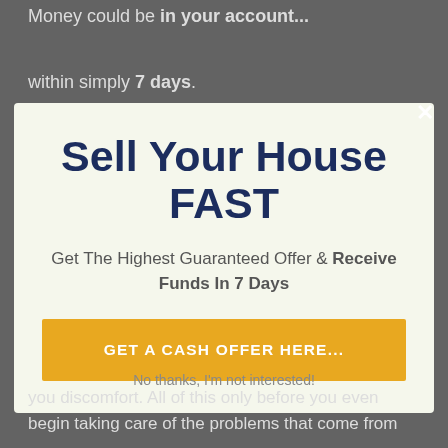Money could be in your account...
within simply 7 days.
Sell Your House FAST
Get The Highest Guaranteed Offer & Receive Funds In 7 Days
GET A CASH OFFER HERE...
No thanks, I'm not interested!
you discomfort. All of this only before you even begin taking care of the problems that come from